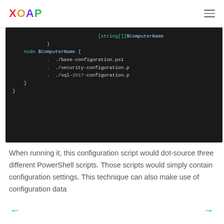XOAP
[Figure (screenshot): Dark-themed code editor showing PowerShell DSC script with [string[]]$ComputerName, node $ComputerName block dot-sourcing base-configuration.ps1, security-configuration.ps1, and sql-2017-configuration.ps1]
When running it, this configuration script would dot-source three different PowerShell scripts. Those scripts would simply contain configuration settings. This technique can also make use of configuration data
← →